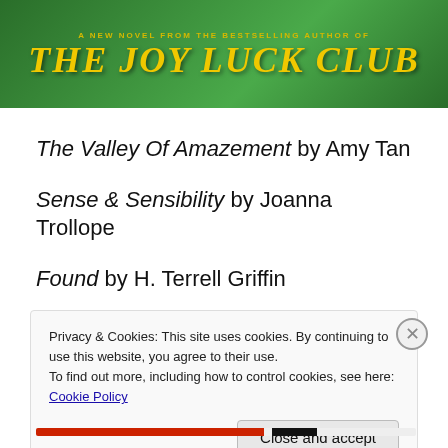[Figure (illustration): Book cover banner for 'The Valley of Amazement' by Amy Tan. Green decorative background with text: 'A NEW NOVEL FROM THE BESTSELLING AUTHOR OF' and 'THE JOY LUCK CLUB' in large yellow/gold letters.]
The Valley Of Amazement by Amy Tan
Sense & Sensibility by Joanna Trollope
Found by H. Terrell Griffin
Privacy & Cookies: This site uses cookies. By continuing to use this website, you agree to their use.
To find out more, including how to control cookies, see here: Cookie Policy